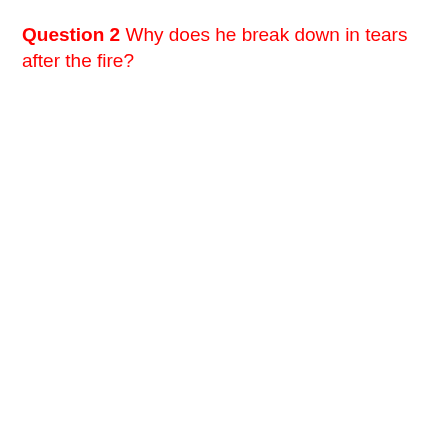Question 2 Why does he break down in tears after the fire?